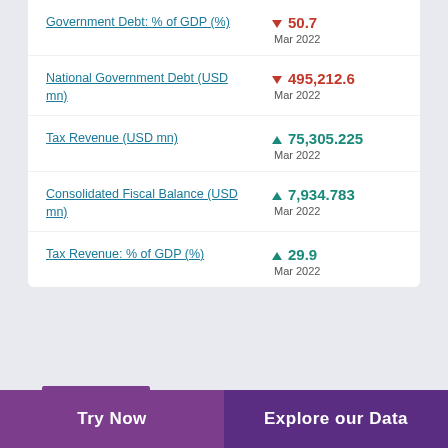Government Debt: % of GDP (%) ▼ 50.7 Mar 2022
National Government Debt (USD mn) ▼ 495,212.6 Mar 2022
Tax Revenue (USD mn) ▲ 75,305.225 Mar 2022
Consolidated Fiscal Balance (USD mn) ▲ 7,934.783 Mar 2022
Tax Revenue: % of GDP (%) ▲ 29.9 Mar 2022
Try Now | Explore our Data